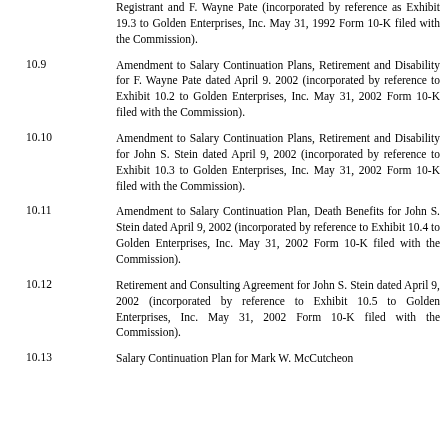Registrant and F. Wayne Pate (incorporated by reference as Exhibit 19.3 to Golden Enterprises, Inc. May 31, 1992 Form 10-K filed with the Commission).
10.9 Amendment to Salary Continuation Plans, Retirement and Disability for F. Wayne Pate dated April 9. 2002 (incorporated by reference to Exhibit 10.2 to Golden Enterprises, Inc. May 31, 2002 Form 10-K filed with the Commission).
10.10 Amendment to Salary Continuation Plans, Retirement and Disability for John S. Stein dated April 9, 2002 (incorporated by reference to Exhibit 10.3 to Golden Enterprises, Inc. May 31, 2002 Form 10-K filed with the Commission).
10.11 Amendment to Salary Continuation Plan, Death Benefits for John S. Stein dated April 9, 2002 (incorporated by reference to Exhibit 10.4 to Golden Enterprises, Inc. May 31, 2002 Form 10-K filed with the Commission).
10.12 Retirement and Consulting Agreement for John S. Stein dated April 9, 2002 (incorporated by reference to Exhibit 10.5 to Golden Enterprises, Inc. May 31, 2002 Form 10-K filed with the Commission).
10.13 Salary Continuation Plan for Mark W. McCutcheon